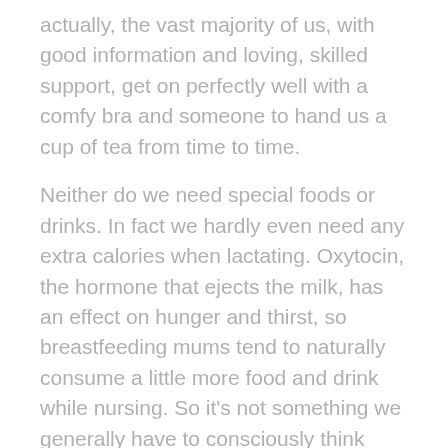actually, the vast majority of us, with good information and loving, skilled support, get on perfectly well with a comfy bra and someone to hand us a cup of tea from time to time.
Neither do we need special foods or drinks. In fact we hardly even need any extra calories when lactating. Oxytocin, the hormone that ejects the milk, has an effect on hunger and thirst, so breastfeeding mums tend to naturally consume a little more food and drink while nursing. So it's not something we generally have to consciously think about.
But if companies want to flog us stuff and mums want to buy it, what's the big deal? Seems like